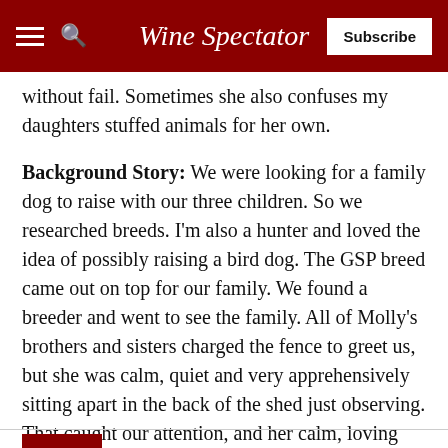Wine Spectator
without fail. Sometimes she also confuses my daughters stuffed animals for her own.
Background Story: We were looking for a family dog to raise with our three children. So we researched breeds. I'm also a hunter and loved the idea of possibly raising a bird dog. The GSP breed came out on top for our family. We found a breeder and went to see the family. All of Molly's brothers and sisters charged the fence to greet us, but she was calm, quiet and very apprehensively sitting apart in the back of the shed just observing. That caught our attention, and her calm, loving temperament was the reason why we fell in love and took her home. She still rarely makes a peep and is always observing the world quietly.